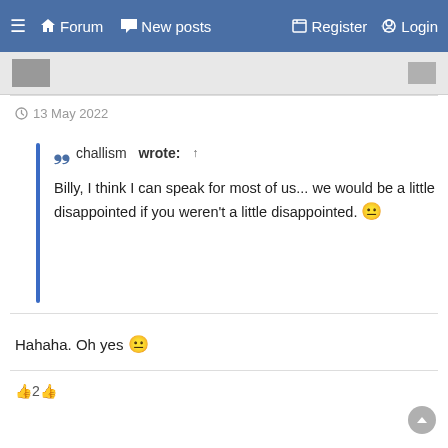≡ 🏠 Forum 💬 New posts 📝 Register ⏻ Login
🕐 13 May 2022
❝ challism wrote: ↑

Billy, I think I can speak for most of us... we would be a little disappointed if you weren't a little disappointed. 😀
Hahaha. Oh yes 😀
👍2👍